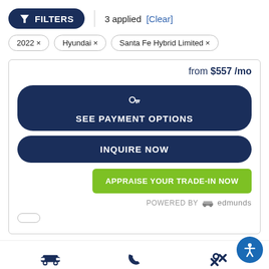[Figure (screenshot): Filter button with funnel icon labeled FILTERS, showing 3 applied with [Clear] link]
2022 ×
Hyundai ×
Santa Fe Hybrid Limited ×
from $557 /mo
SEE PAYMENT OPTIONS
INQUIRE NOW
APPRAISE YOUR TRADE-IN NOW
POWERED BY edmunds
Inventory
Call
Service